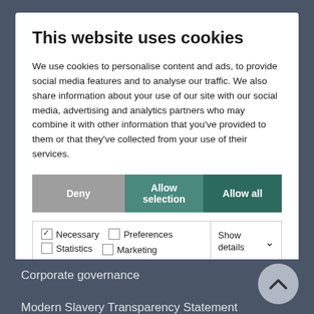This website uses cookies
We use cookies to personalise content and ads, to provide social media features and to analyse our traffic. We also share information about your use of our site with our social media, advertising and analytics partners who may combine it with other information that you've provided to them or that they've collected from your use of their services.
[Figure (screenshot): Three buttons: Deny (grey), Allow selection (teal), Allow all (dark teal)]
[Figure (screenshot): Checkbox row with: checked Necessary, unchecked Preferences, unchecked Statistics, unchecked Marketing. Right side: Show details with chevron down.]
Corporate governance
Modern Slavery Transparency Statement
Website cookies